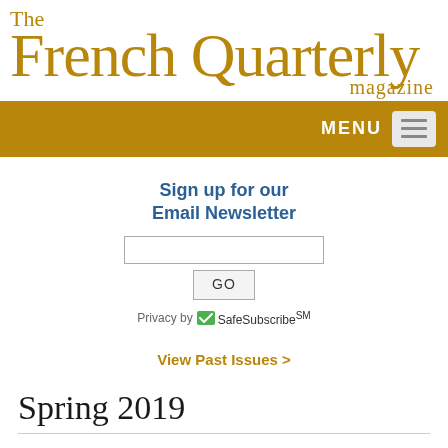The French Quarterly magazine
[Figure (other): Navigation bar with golden background, MENU label and hamburger icon]
Sign up for our Email Newsletter
Privacy by SafeSubscribe℠
View Past Issues >
Spring 2019
LIVE!